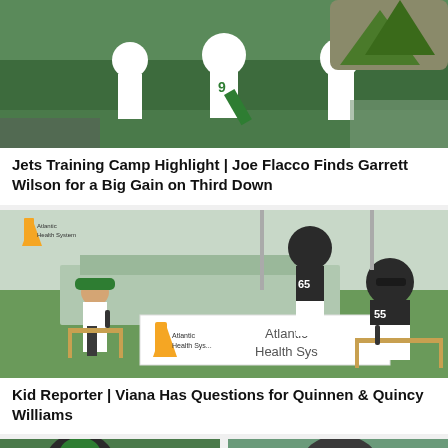[Figure (photo): New York Jets players in green and white uniforms during training camp drills outdoors]
Jets Training Camp Highlight | Joe Flacco Finds Garrett Wilson for a Big Gain on Third Down
[Figure (photo): Kid reporter Viana interviewing Jets players Quinnen Williams and Quincy Williams at an Atlantic Health System branded table during training camp]
Kid Reporter | Viana Has Questions for Quinnen & Quincy Williams
[Figure (photo): Partial view of another Jets-related video thumbnail at the bottom of the page]